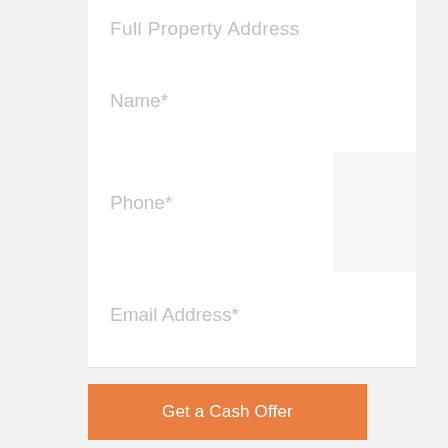Full Property Address
Name*
Phone*
Email Address*
Get a Cash Offer
or call 888-988-6621